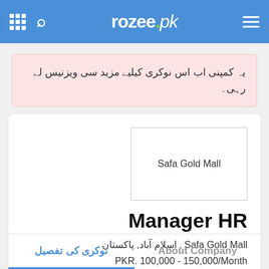rozee.pk — navigation bar with grid, search, logo, and hamburger menu
یہ کمپنی اب اس نوکری کیلیے مزید سی ویزنیس لے رہی۔
[Figure (logo): Safa Gold Mall company logo placeholder box]
Manager HR
Safa Gold Mall , اسلام آباد, پاکستان
PKR. 100,000 - 150,000/Month
نوکری کی تفصیل   About Company